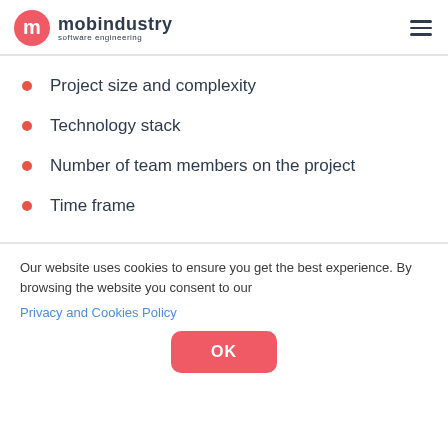mobindustry software engineering
Project size and complexity
Technology stack
Number of team members on the project
Time frame
Our website uses cookies to ensure you get the best experience. By browsing the website you consent to our Privacy and Cookies Policy